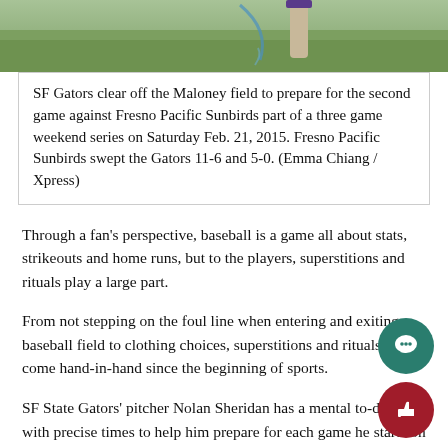[Figure (photo): Top portion of a baseball field photo showing players on green grass, cropped at top of page]
SF Gators clear off the Maloney field to prepare for the second game against Fresno Pacific Sunbirds part of a three game weekend series on Saturday Feb. 21, 2015. Fresno Pacific Sunbirds swept the Gators 11-6 and 5-0. (Emma Chiang / Xpress)
Through a fan's perspective, baseball is a game all about stats, strikeouts and home runs, but to the players, superstitions and rituals play a large part.
From not stepping on the foul line when entering and exiting a baseball field to clothing choices, superstitions and rituals have come hand-in-hand since the beginning of sports.
SF State Gators' pitcher Nolan Sheridan has a mental to-do list with precise times to help him prepare for each game he starts on the m... He begins his pre-game ritual at 1:25 p.m. by running by himself in the outfield. When the clock strikes 1:45 p.m., the Gator cools off with... in the dugout and scurries to the mound to throw pitches into the g...